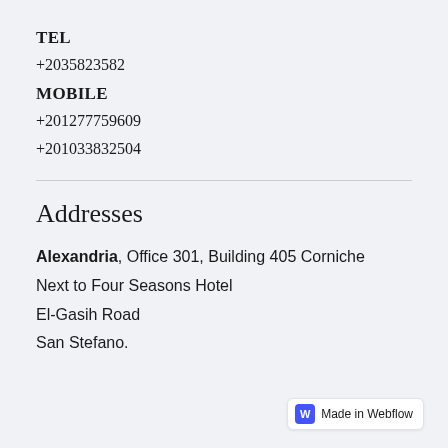TEL
+2035823582
MOBILE
+201277759609
+201033832504
Addresses
Alexandria, Office 301, Building 405 Corniche Next to Four Seasons Hotel El-Gasih Road San Stefano.